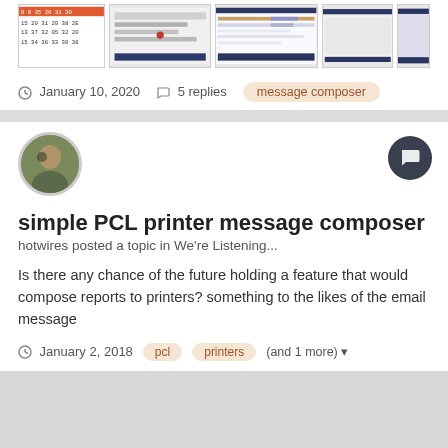[Figure (screenshot): Screenshot strip showing calendar and software interface thumbnails at the top of the page]
January 10, 2020  5 replies  message composer
simple PCL printer message composer
hotwires posted a topic in We're Listening...
Is there any chance of the future holding a feature that would compose reports to printers? something to the likes of the email message
January 2, 2018  pcl  printers  (and 1 more)
Contact Us
Powered by Invision Community